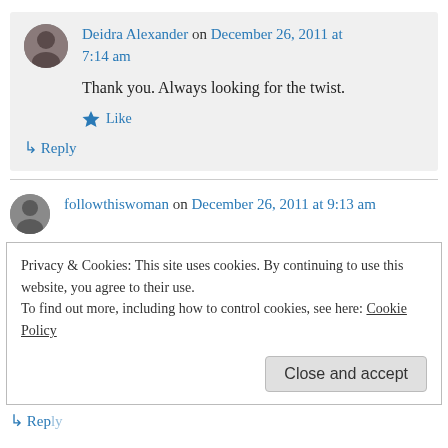Deidra Alexander on December 26, 2011 at 7:14 am
Thank you. Always looking for the twist.
Like
Reply
followthiswoman on December 26, 2011 at 9:13 am
Privacy & Cookies: This site uses cookies. By continuing to use this website, you agree to their use.
To find out more, including how to control cookies, see here: Cookie Policy
Close and accept
Reply